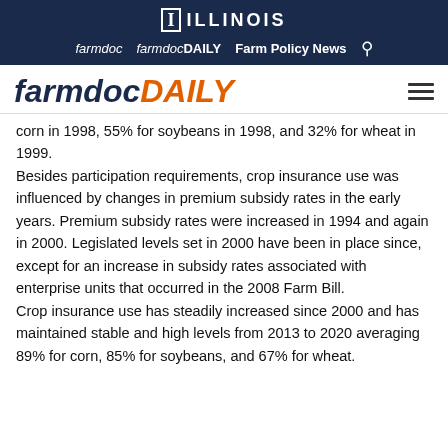ILLINOIS | farmdoc | farmdocDAILY | Farm Policy News
farmdocDAILY
corn in 1998, 55% for soybeans in 1998, and 32% for wheat in 1999.
Besides participation requirements, crop insurance use was influenced by changes in premium subsidy rates in the early years. Premium subsidy rates were increased in 1994 and again in 2000. Legislated levels set in 2000 have been in place since, except for an increase in subsidy rates associated with enterprise units that occurred in the 2008 Farm Bill.
Crop insurance use has steadily increased since 2000 and has maintained stable and high levels from 2013 to 2020 averaging 89% for corn, 85% for soybeans, and 67% for wheat.